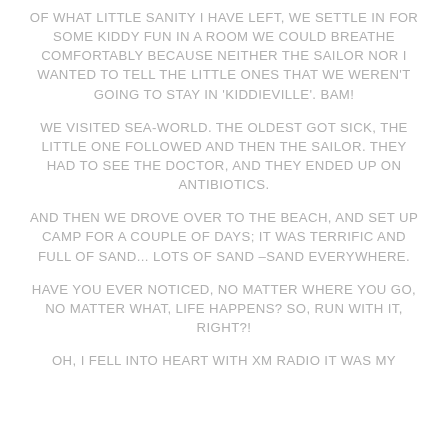OF WHAT LITTLE SANITY I HAVE LEFT, WE SETTLE IN FOR SOME KIDDY FUN IN A ROOM WE COULD BREATHE COMFORTABLY BECAUSE NEITHER THE SAILOR NOR I WANTED TO TELL THE LITTLE ONES THAT WE WEREN'T GOING TO STAY IN 'KIDDIEVILLE'. BAM!
WE VISITED SEA-WORLD. THE OLDEST GOT SICK, THE LITTLE ONE FOLLOWED AND THEN THE SAILOR. THEY HAD TO SEE THE DOCTOR, AND THEY ENDED UP ON ANTIBIOTICS.
AND THEN WE DROVE OVER TO THE BEACH, AND SET UP CAMP FOR A COUPLE OF DAYS; IT WAS TERRIFIC AND FULL OF SAND... LOTS OF SAND –SAND EVERYWHERE.
HAVE YOU EVER NOTICED, NO MATTER WHERE YOU GO, NO MATTER WHAT, LIFE HAPPENS? SO, RUN WITH IT, RIGHT?!
OH, I FELL INTO HEART WITH XM RADIO IT WAS MY